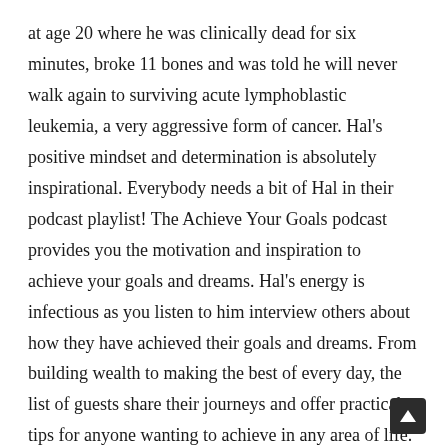at age 20 where he was clinically dead for six minutes, broke 11 bones and was told he will never walk again to surviving acute lymphoblastic leukemia, a very aggressive form of cancer. Hal's positive mindset and determination is absolutely inspirational. Everybody needs a bit of Hal in their podcast playlist! The Achieve Your Goals podcast provides you the motivation and inspiration to achieve your goals and dreams. Hal's energy is infectious as you listen to him interview others about how they have achieved their goals and dreams. From building wealth to making the best of every day, the list of guests share their journeys and offer practical tips for anyone wanting to achieve in any area of life. The average podcast length is about 42 minutes and it's the most favourite minutes of my week. I literally look forward to the new release of Hal's podcast every week. A